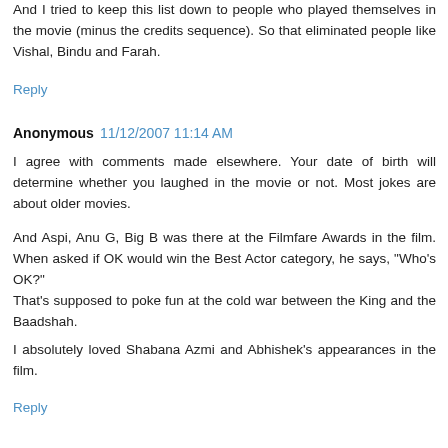And I tried to keep this list down to people who played themselves in the movie (minus the credits sequence). So that eliminated people like Vishal, Bindu and Farah.
Reply
Anonymous  11/12/2007 11:14 AM
I agree with comments made elsewhere. Your date of birth will determine whether you laughed in the movie or not. Most jokes are about older movies.
And Aspi, Anu G, Big B was there at the Filmfare Awards in the film. When asked if OK would win the Best Actor category, he says, "Who's OK?" That's supposed to poke fun at the cold war between the King and the Baadshah.
I absolutely loved Shabana Azmi and Abhishek's appearances in the film.
Reply